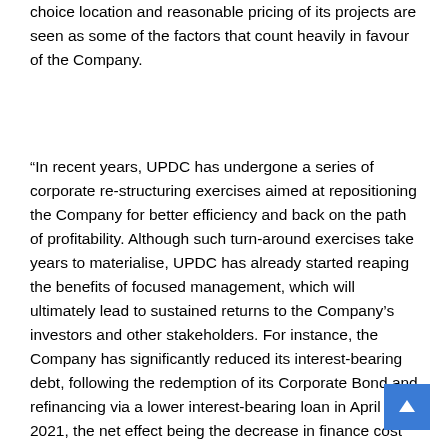choice location and reasonable pricing of its projects are seen as some of the factors that count heavily in favour of the Company.
“In recent years, UPDC has undergone a series of corporate re-structuring exercises aimed at repositioning the Company for better efficiency and back on the path of profitability. Although such turn-around exercises take years to materialise, UPDC has already started reaping the benefits of focused management, which will ultimately lead to sustained returns to the Company’s investors and other stakeholders. For instance, the Company has significantly reduced its interest-bearing debt, following the redemption of its Corporate Bond and refinancing via a lower interest-bearing loan in April 2021, the net effect being the decrease in finance cost by over 51% YOY in 2021 amongst other positive indices. The Company has also commenced the process of building a world class team of professionals with several years of in country and international